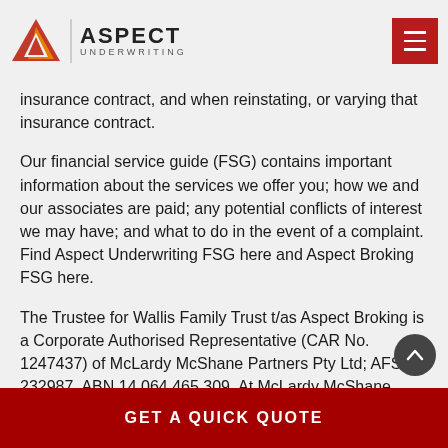Aspect Underwriting
insurance contract, and when reinstating, or varying that insurance contract.
Our financial service guide (FSG) contains important information about the services we offer you; how we and our associates are paid; any potential conflicts of interest we may have; and what to do in the event of a complaint. Find Aspect Underwriting FSG here and Aspect Broking FSG here.
The Trustee for Wallis Family Trust t/as Aspect Broking is a Corporate Authorised Representative (CAR No. 1247437) of McLardy McShane Partners Pty Ltd; AFSL 232987, ABN 14 064 465 309. At McLardy McShane
GET A QUICK QUOTE